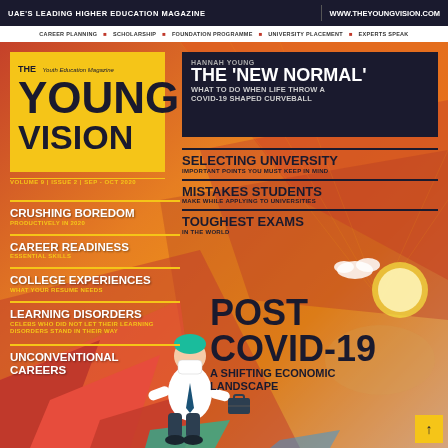UAE'S LEADING HIGHER EDUCATION MAGAZINE | WWW.THEYOUNGVISION.COM
CAREER PLANNING ■ SCHOLARSHIP ■ FOUNDATION PROGRAMME ■ UNIVERSITY PLACEMENT ■ EXPERTS SPEAK
THE Young Vision
YOUNG
VISION
VOLUME 9 | ISSUE 2 | SEP - OCT 2020
HANNAH YOUNG
THE 'NEW NORMAL'
WHAT TO DO WHEN LIFE THROW A COVID-19 SHAPED CURVEBALL
CRUSHING BOREDOM
PRODUCTIVELY IN 2020
CAREER READINESS
ESSENTIAL SKILLS
COLLEGE EXPERIENCES
WHAT YOUR RESUME NEEDS
LEARNING DISORDERS
CELEBS WHO DID NOT LET THEIR LEARNING DISORDERS STAND IN THEIR WAY
UNCONVENTIONAL CAREERS
SELECTING UNIVERSITY
IMPORTANT POINTS YOU MUST KEEP IN MIND
MISTAKES STUDENTS
MAKE WHILE APPLYING TO UNIVERSITIES
TOUGHEST EXAMS
IN THE WORLD
POST COVID-19
A SHIFTING ECONOMIC LANDSCAPE
[Figure (illustration): Person in business attire wearing a mask, sitting on red geometric shapes, with a briefcase, against a warm orange background with world map and sun]